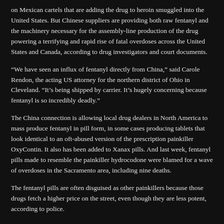on Mexican cartels that are adding the drug to heroin smuggled into the United States. But Chinese suppliers are providing both raw fentanyl and the machinery necessary for the assembly-line production of the drug powering a terrifying and rapid rise of fatal overdoses across the United States and Canada, according to drug investigators and court documents.
“We have seen an influx of fentanyl directly from China,” said Carole Rendon, the acting US attorney for the northern district of Ohio in Cleveland. “It’s being shipped by carrier. It’s hugely concerning because fentanyl is so incredibly deadly.”
The China connection is allowing local drug dealers in North America to mass produce fentanyl in pill form, in some cases producing tablets that look identical to an oft-abused version of the prescription painkiller OxyContin. It also has been added to Xanax pills. And last week, fentanyl pills made to resemble the painkiller hydrocodone were blamed for a wave of overdoses in the Sacramento area, including nine deaths.
The fentanyl pills are often disguised as other painkillers because those drugs fetch a higher price on the street, even though they are less potent, according to police.
The Southern California lab was just one of four dismantled by law enforcement in the United States and Canada in March.